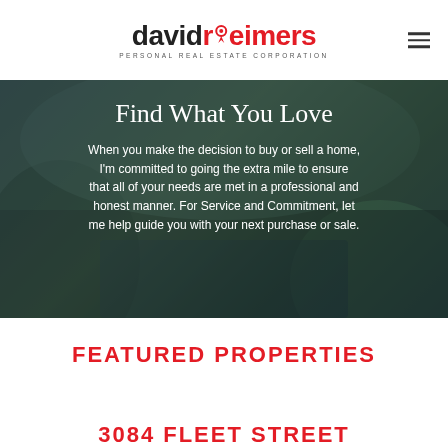[Figure (logo): David Reimers Personal Real Estate Corporation logo with red text for 'reimers' and a house icon above the letter i]
[Figure (photo): Hero background photo showing a luxury home exterior with pool, trees, and dramatic sky]
Find What You Love
When you make the decision to buy or sell a home, I'm committed to going the extra mile to ensure that all of your needs are met in a professional and honest manner. For Service and Commitment, let me help guide you with your next purchase or sale.
FEATURED PROPERTIES
3084 FLEET STREET